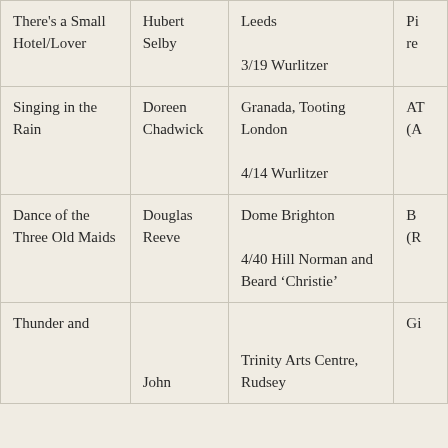| Title | Organist | Organ/Venue |  |
| --- | --- | --- | --- |
| There's a Small Hotel/Lover | Hubert Selby | Leeds

3/19 Wurlitzer | Pi
re |
| Singing in the Rain | Doreen Chadwick | Granada, Tooting London

4/14 Wurlitzer | AT
(A |
| Dance of the Three Old Maids | Douglas Reeve | Dome Brighton

4/40 Hill Norman and Beard 'Christie' | B
(R |
| Thunder and | John | Trinity Arts Centre, Rudsey | Gi |